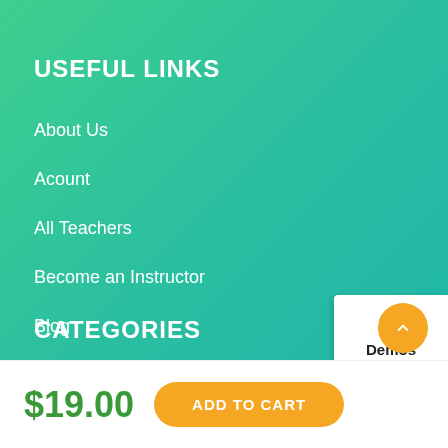USEFUL LINKS
About Us
Acount
All Teachers
Become an Instructor
Blog
CATEGORIES
[Figure (other): Demos button with gear icon on white background, partially visible on right edge]
[Figure (other): Buy Now button with leaf icon on green background, partially visible on right edge]
[Figure (other): Orange scroll-to-top circular button with upward chevron]
$19.00
ADD TO CART